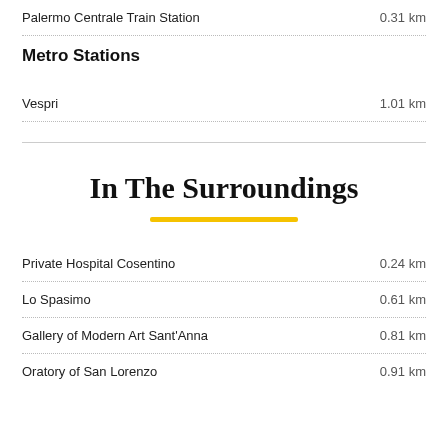Palermo Centrale Train Station   0.31 km
Metro Stations
Vespri   1.01 km
In The Surroundings
Private Hospital Cosentino   0.24 km
Lo Spasimo   0.61 km
Gallery of Modern Art Sant'Anna   0.81 km
Oratory of San Lorenzo   0.91 km